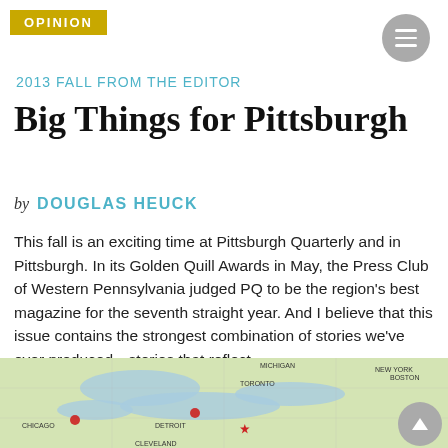OPINION
2013 FALL FROM THE EDITOR
Big Things for Pittsburgh
by  DOUGLAS HEUCK
This fall is an exciting time at Pittsburgh Quarterly and in Pittsburgh. In its Golden Quill Awards in May, the Press Club of Western Pennsylvania judged PQ to be the region's best magazine for the seventh straight year. And I believe that this issue contains the strongest combination of stories we've ever produced—stories that reflect ...
Read More »
[Figure (map): Partial map showing northeastern United States and Great Lakes region, including cities like Chicago, Detroit, Toronto, Cleveland, and Boston]